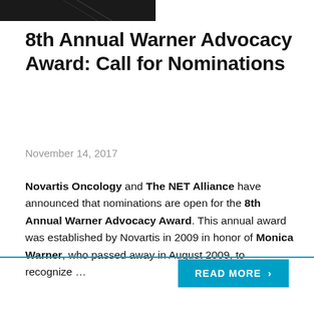[Figure (photo): Partial dark image at top left of page, appears to be a cropped photograph]
8th Annual Warner Advocacy Award: Call for Nominations
November 14, 2017
Novartis Oncology and The NET Alliance have announced that nominations are open for the 8th Annual Warner Advocacy Award. This annual award was established by Novartis in 2009 in honor of Monica Warner, who passed away in August 2009, to recognize …
READ MORE >